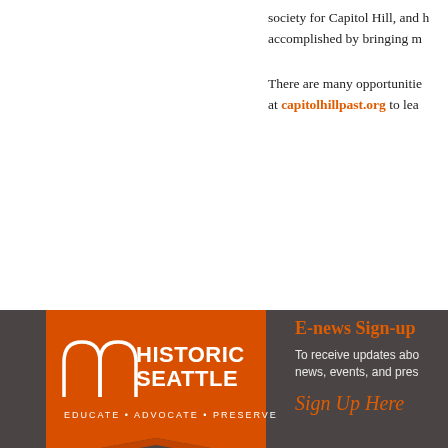society for Capitol Hill, and h accomplished by bringing m
There are many opportunitie at capitolhillpast.org to lea
[Figure (logo): Facebook Share button in blue]
[Figure (logo): Historic Seattle logo — orange ribbon banner with arch icon, white text reading HISTORIC SEATTLE, EDUCATE • ADVOCATE • PRESERVE]
E-news Sign-up
To receive updates abo news, events, and pres
Sign Up Here